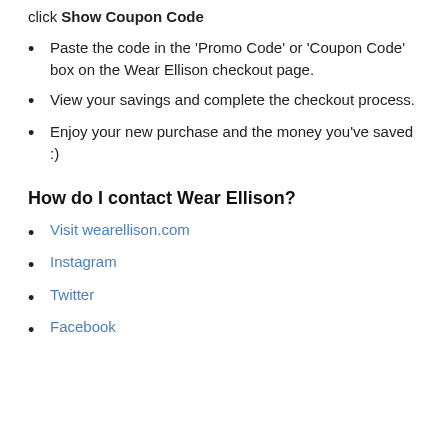click Show Coupon Code
Paste the code in the 'Promo Code' or 'Coupon Code' box on the Wear Ellison checkout page.
View your savings and complete the checkout process.
Enjoy your new purchase and the money you've saved :)
How do I contact Wear Ellison?
Visit wearellison.com
Instagram
Twitter
Facebook